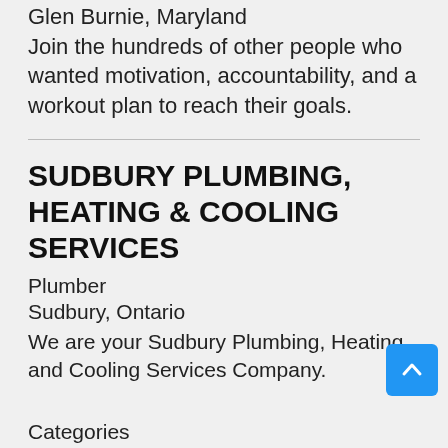Glen Burnie, Maryland
Join the hundreds of other people who wanted motivation, accountability, and a workout plan to reach their goals.
SUDBURY PLUMBING, HEATING & COOLING SERVICES
Plumber
Sudbury, Ontario
We are your Sudbury Plumbing, Heating and Cooling Services Company.
Categories